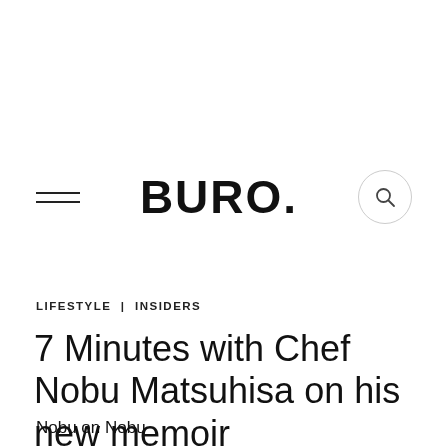BURO.
LIFESTYLE | INSIDERS
7 Minutes with Chef Nobu Matsuhisa on his new memoir
Nobu on Nobu